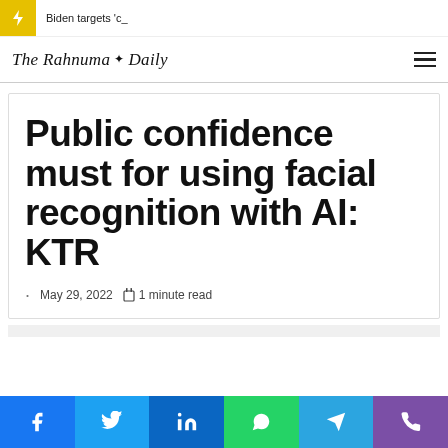Biden targets 'c_
The Rahnuma Daily
Public confidence must for using facial recognition with AI: KTR
May 29, 2022  1 minute read
[Figure (other): Social share bar with Facebook, Twitter, LinkedIn, WhatsApp, Telegram, and phone icons]